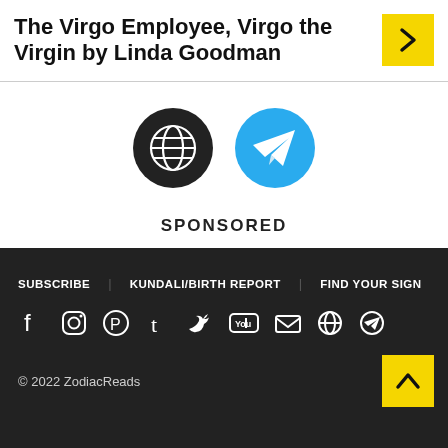The Virgo Employee, Virgo the Virgin by Linda Goodman
[Figure (infographic): Two circular social icons: a dark globe/earth icon and a blue Telegram icon]
SPONSORED
SUBSCRIBE   KUNDALI/BIRTH REPORT   FIND YOUR SIGN
© 2022 ZodiacReads